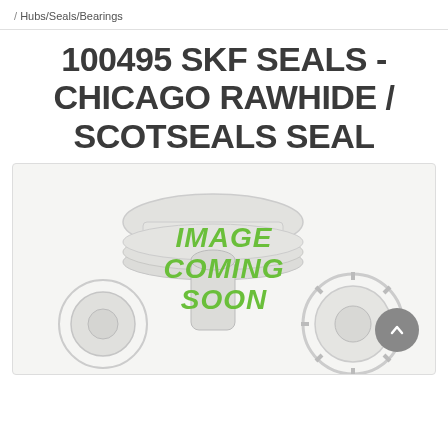Hubs/Seals/Bearings
100495 SKF SEALS - CHICAGO RAWHIDE / SCOTSEALS SEAL
[Figure (photo): Product image placeholder showing mechanical parts (bearings/seals) in light gray with green text overlay reading IMAGE COMING SOON]